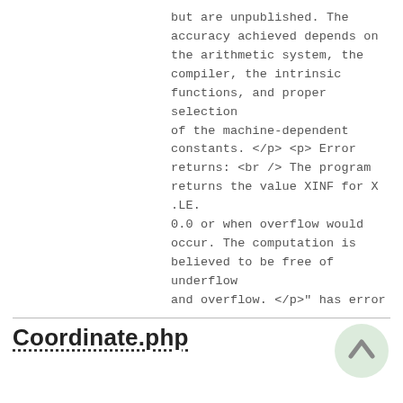but are unpublished. The accuracy achieved depends on the arithmetic system, the compiler, the intrinsic functions, and proper selection of the machine-dependent constants. </p> <p> Error returns: <br /> The program returns the value XINF for X .LE. 0.0 or when overflow would occur. The computation is believed to be free of underflow and overflow. </p>" has error
Coordinate.php